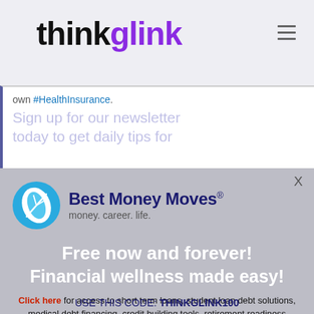thinkglink
own #HealthInsurance. Sign up for our newsletter today to get daily tips for
[Figure (logo): Best Money Moves logo with blue circular leaf icon, tagline: money. career. life.]
Free now and forever! Financial wellness made easy!
Click here for access to short term loans, student loan debt solutions, medical debt financing, credit building tools, retirement readiness planning, ID theft protection, insurance options, life journeys, calculators, videos, deep resources and more!
USE THIS CODE: THINKGLINK100